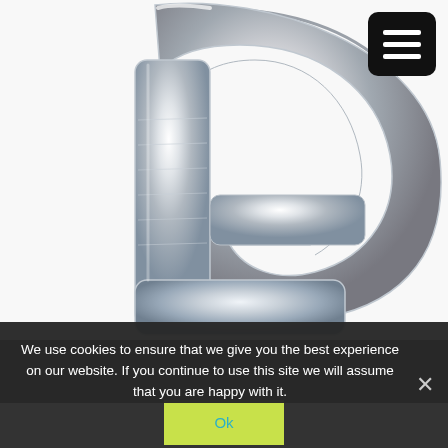[Figure (photo): Silver metallic foil balloon in the shape of the letter G, shown against a white background. The letter G is large and reflective with a shiny silver finish.]
We use cookies to ensure that we give you the best experience on our website. If you continue to use this site we will assume that you are happy with it.
Ok